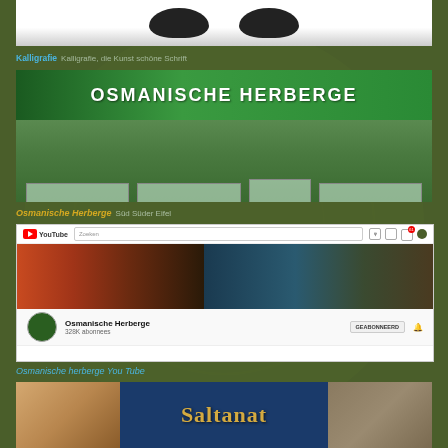[Figure (photo): Top portion of a page showing two dark rounded objects (shoes/slippers) on white background]
Kalligrafie Kalligrafie, die Kunst schöne Schrift
[Figure (photo): Photo of Osmanische Herberge building with green facade and sign]
Osmanische Herberge Süd Süder Eifel
[Figure (screenshot): YouTube channel page for Osmanische Herberge with 328K abonnees (subscribers)]
Osmanische herberge You Tube
[Figure (photo): Saltanat - partial view of banner with golden text on dark blue background]